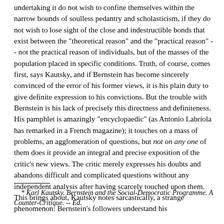undertaking it do not wish to confine themselves within the narrow bounds of soulless pedantry and scholasticism, if they do not wish to lose sight of the close and indestructible bonds that exist between the "theoretical reason" and the "practical reason" -- not the practical reason of individuals, but of the masses of the population placed in specific conditions. Truth, of course, comes first, says Kautsky, and if Bernstein has become sincerely convinced of the error of his former views, it is his plain duty to give definite expression to his convictions. But the trouble with Bernstein is his lack of precisely this directness and definiteness. His pamphlet is amazingly "encyclopaedic" (as Antonio Labriola has remarked in a French magazine); it touches on a mass of problems, an agglomeration of questions, but not on any one of them does it provide an integral and precise exposition of the critic's new views. The critic merely expresses his doubts and abandons difficult and complicated questions without any independent analysis after having scarcely touched upon them. This brings about, Kautsky notes sarcastically, a strange phenomenon: Bernstein's followers understand his
* Karl Kautsky. Bernstein and the Social-Democratic Programme. A Counter-Critique. -- Ed.